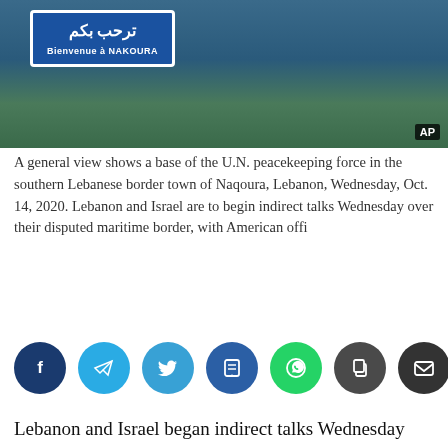[Figure (photo): A general view showing a blue welcome sign reading 'Bienvenue à NAKOURA' in French and Arabic, with trees and hills in the background. AP watermark in bottom right.]
A general view shows a base of the U.N. peacekeeping force in the southern Lebanese border town of Naqoura, Lebanon, Wednesday, Oct. 14, 2020. Lebanon and Israel are to begin indirect talks Wednesday over their disputed maritime border, with American offi
[Figure (infographic): Social media share buttons: Facebook, Telegram, Twitter, Buzz/bookmark, WhatsApp, Copy, Email]
Lebanon and Israel began indirect talks Wednesday over their disputed maritime border, with American officials mediating the talks that both sides insist are purely technical and not a sign of any normalization of ties.
The U.S. has been mediating the issue for about a